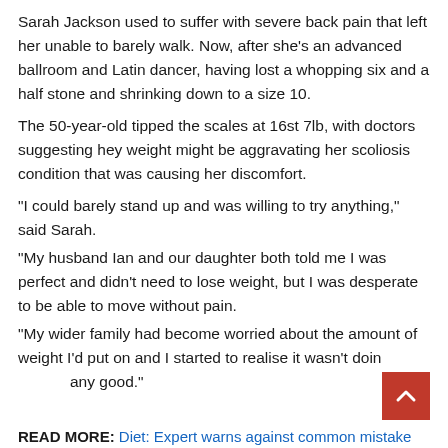Sarah Jackson used to suffer with severe back pain that left her unable to barely walk. Now, after she's an advanced ballroom and Latin dancer, having lost a whopping six and a half stone and shrinking down to a size 10.
The 50-year-old tipped the scales at 16st 7lb, with doctors suggesting hey weight might be aggravating her scoliosis condition that was causing her discomfort.
“I could barely stand up and was willing to try anything,” said Sarah.
“My husband Ian and our daughter both told me I was perfect and didn’t need to lose weight, but I was desperate to be able to move without pain.
“My wider family had become worried about the amount of weight I’d put on and I started to realise it wasn’t doing any good.”
READ MORE: Diet: Expert warns against common mistake